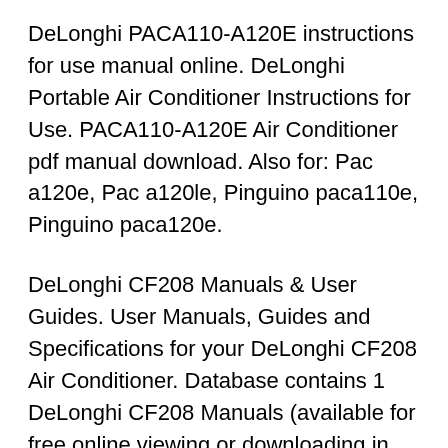DeLonghi PACA110-A120E instructions for use manual online. DeLonghi Portable Air Conditioner Instructions for Use. PACA110-A120E Air Conditioner pdf manual download. Also for: Pac a120e, Pac a120le, Pinguino paca110e, Pinguino paca120e.
DeLonghi CF208 Manuals & User Guides. User Manuals, Guides and Specifications for your DeLonghi CF208 Air Conditioner. Database contains 1 DeLonghi CF208 Manuals (available for free online viewing or downloading in PDF): User manual manual . N130HPE USER GUIDE Air Conditioner Manual , Delonghi N130HPE Air Conditioner USER GUIDE Manual in English, , , Download Link For Delonghi USER GUIDE N130HPE Air Conditioner Manual. Delonghi